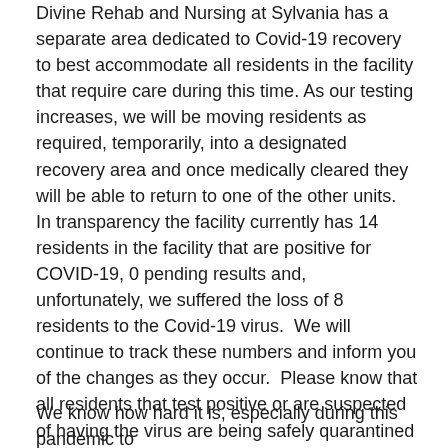Divine Rehab and Nursing at Sylvania has a separate area dedicated to Covid-19 recovery to best accommodate all residents in the facility that require care during this time. As our testing increases, we will be moving residents as required, temporarily, into a designated recovery area and once medically cleared they will be able to return to one of the other units.  In transparency the facility currently has 14 residents in the facility that are positive for COVID-19, 0 pending results and, unfortunately, we suffered the loss of 8 residents to the Covid-19 virus.  We will continue to track these numbers and inform you of the changes as they occur.  Please know that all residents that test positive or are suspected of having the virus are being safely quarantined from all other residents.  Everyone is being vigilant with PPE usage and we continuously encourage safe social distancing.
We know how hard it is, especially during this pandemic to